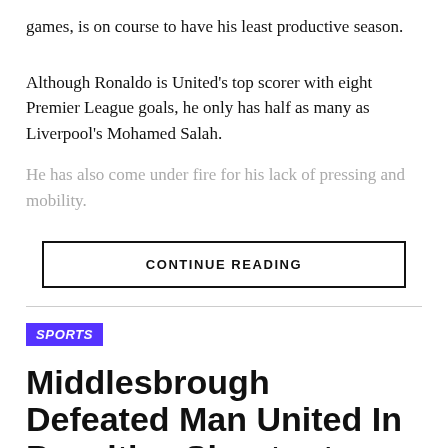games, is on course to have his least productive season.
Although Ronaldo is United's top scorer with eight Premier League goals, he only has half as many as Liverpool's Mohamed Salah.
He has also come under fire for his lack of pressing and mobility.
CONTINUE READING
SPORTS
Middlesbrough Defeated Man United In Penalties Shootout
Roy Keane reveals what Middlesbrough's win would do to Man